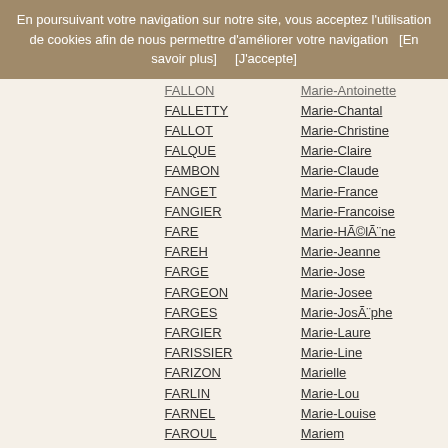En poursuivant votre navigation sur notre site, vous acceptez l'utilisation de cookies afin de nous permettre d'améliorer votre navigation   [En savoir plus]       [J'accepte]
FALLON / Marie-Antoinette (truncated)
FALLETTY / Marie-Chantal
FALLOT / Marie-Christine
FALQUE / Marie-Claire
FAMBON / Marie-Claude
FANGET / Marie-France
FANGIER / Marie-Francoise
FARE / Marie-Hélène
FAREH / Marie-Jeanne
FARGE / Marie-Jose
FARGEON / Marie-Josee
FARGES / Marie-Josèphe
FARGIER / Marie-Laure
FARISSIER / Marie-Line
FARIZON / Marielle
FARLIN / Marie-Lou
FARNEL / Marie-Louise
FAROUL / Mariem
FARRE / Marie-Madeleine
FAUCHIER / Marie-Noelle
FAUCON / Marie-Odile
FAUCONNET / Marie-Paule